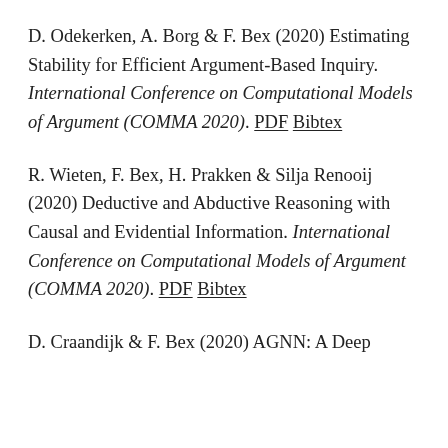D. Odekerken, A. Borg & F. Bex (2020) Estimating Stability for Efficient Argument-Based Inquiry. International Conference on Computational Models of Argument (COMMA 2020). PDF Bibtex
R. Wieten, F. Bex, H. Prakken & Silja Renooij (2020) Deductive and Abductive Reasoning with Causal and Evidential Information. International Conference on Computational Models of Argument (COMMA 2020). PDF Bibtex
D. Craandijk & F. Bex (2020) AGNN: A Deep